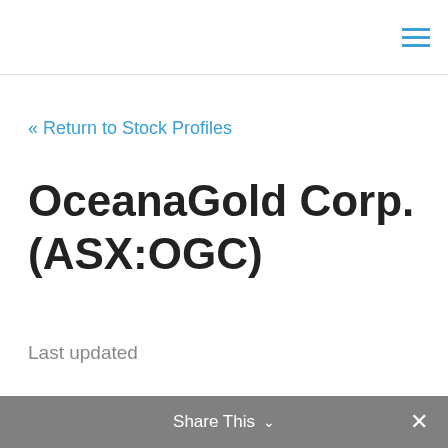≡
« Return to Stock Profiles
OceanaGold Corp. (ASX:OGC)
Last updated
Share This ∨  ✕